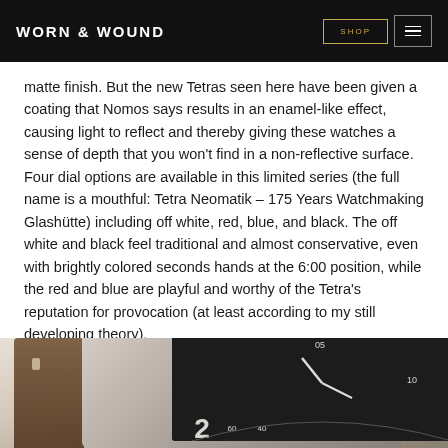WORN & WOUND
matte finish. But the new Tetras seen here have been given a coating that Nomos says results in an enamel-like effect, causing light to reflect and thereby giving these watches a sense of depth that you won't find in a non-reflective surface. Four dial options are available in this limited series (the full name is a mouthful: Tetra Neomatik – 175 Years Watchmaking Glashütte) including off white, red, blue, and black. The off white and black feel traditional and almost conservative, even with brightly colored seconds hands at the 6:00 position, while the red and blue are playful and worthy of the Tetra's reputation for provocation (at least according to my still developing theory).
[Figure (photo): Close-up photograph of a Nomos Tetra watch with a dark dial and brown leather strap, showing the square watch face from an angle.]